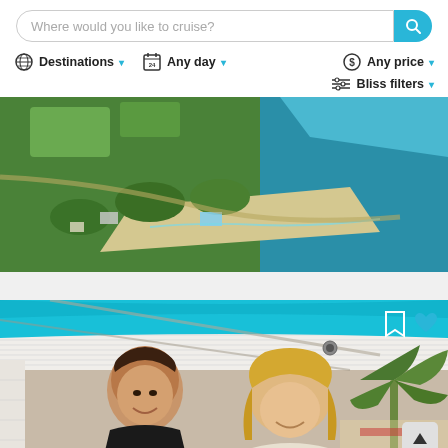[Figure (screenshot): Search bar with placeholder text 'Where would you like to cruise?' and a teal search button with magnifier icon]
Destinations ▾   Any day ▾   Any price ▾
Bliss filters ▾
[Figure (photo): Aerial drone photograph of a tropical coastal town with green vegetation, beach, and turquoise sea]
[Figure (photo): Photo of two smiling women on a boat/cruise vessel with teal awning, palm trees visible in background, with bookmark and heart icons overlay and an up arrow button]